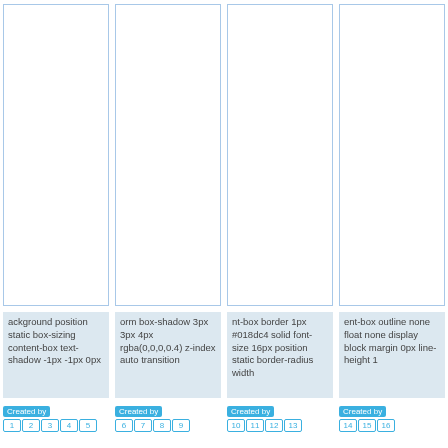[Figure (screenshot): Four vertical column boxes with light blue borders arranged side by side in the upper portion of the page, representing UI element previews.]
ackground position static box-sizing content-box text-shadow -1px -1px 0px
orm box-shadow 3px 3px 4px rgba(0,0,0,0.4) z-index auto transition
nt-box border 1px #018dc4 solid font-size 16px position static border-radius width
ent-box outline none float none display block margin 0px line-height 1
Created by 1 2 3 4 5
Created by 6 7 8 9
Created by 10 11 12 13
Created by 14 15 16